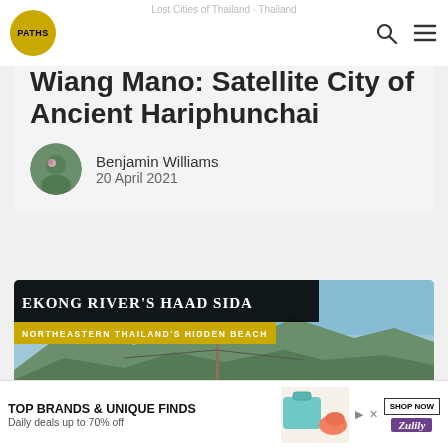Lost Cities of Thailand · Thailand
Wiang Mano: Satellite City of Ancient Hariphunchai
Benjamin Williams
20 April 2021
[Figure (photo): River landscape photo with overlaid text 'EKONG RIVER'S HAAD SIDA - Northeastern Thailand's Hidden Beach', mountains and sky in background]
TOP BRANDS & UNIQUE FINDS
Daily deals up to 70% off
SHOP NOW
Zulily